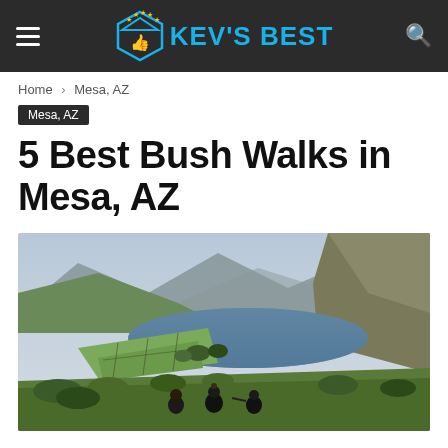KEV'S BEST
Home › Mesa, AZ
Mesa, AZ
5 Best Bush Walks in Mesa, AZ
[Figure (photo): Aerial landscape view of a mountain lake (tarn) surrounded by green hills and mountains, with hikers in the foreground looking out over the valley. Green fields and stone walls are visible near the lake shore.]